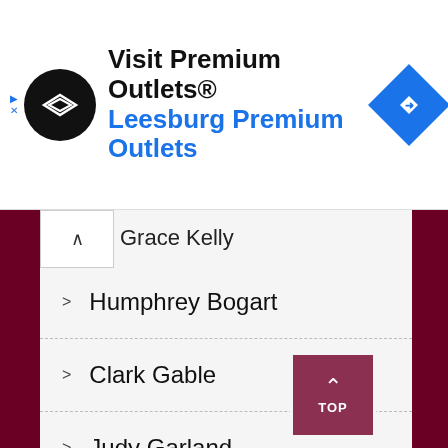[Figure (infographic): Advertisement banner for Premium Outlets showing logo, text 'Visit Premium Outlets® Leesburg Premium Outlets', and a navigation icon]
Grace Kelly
Humphrey Bogart
Clark Gable
Judy Garland
Marlon Brando
Greta Garbo
Katharine Hepburn
James Stewart
Frank Sinatra